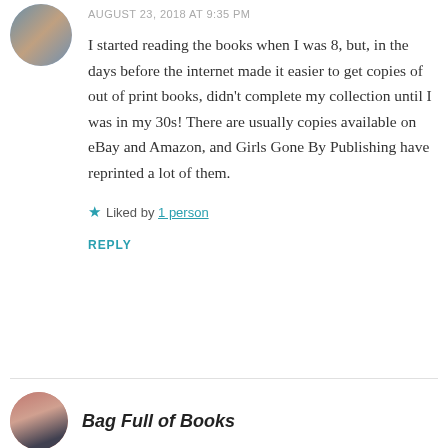[Figure (photo): Round avatar image of a person, top-left corner]
AUGUST 23, 2018 AT 9:35 PM
I started reading the books when I was 8, but, in the days before the internet made it easier to get copies of out of print books, didn't complete my collection until I was in my 30s! There are usually copies available on eBay and Amazon, and Girls Gone By Publishing have reprinted a lot of them.
★ Liked by 1 person
REPLY
[Figure (photo): Round avatar image of a woman, bottom section]
Bag Full of Books